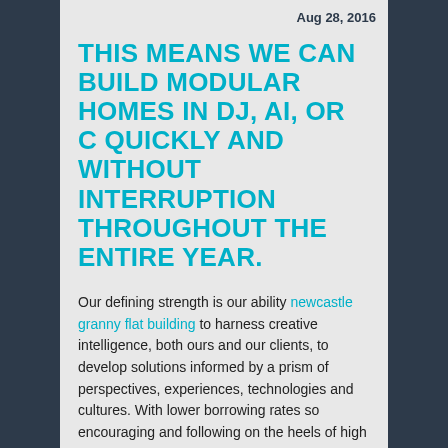Aug 28, 2016
THIS MEANS WE CAN BUILD MODULAR HOMES IN DJ, AI, OR C QUICKLY AND WITHOUT INTERRUPTION THROUGHOUT THE ENTIRE YEAR.
Our defining strength is our ability newcastle granny flat building to harness creative intelligence, both ours and our clients, to develop solutions informed by a prism of perspectives, experiences, technologies and cultures. With lower borrowing rates so encouraging and following on the heels of high Wall Street profits, American families are not only